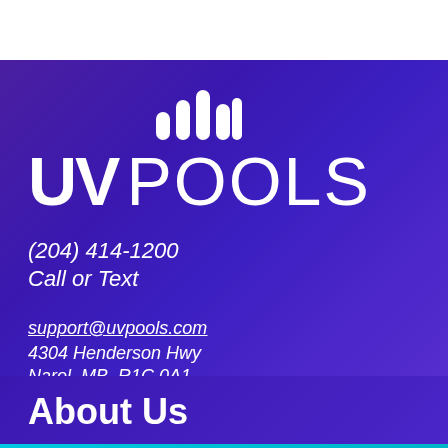[Figure (logo): UV Pools logo with bar chart icon above text. Bold 'UV' followed by thin 'POOLS' in white on purple gradient background.]
(204) 414-1200
Call or Text
support@uvpools.com
4304 Henderson Hwy
Narol, MB, R1C 0A1
About Us